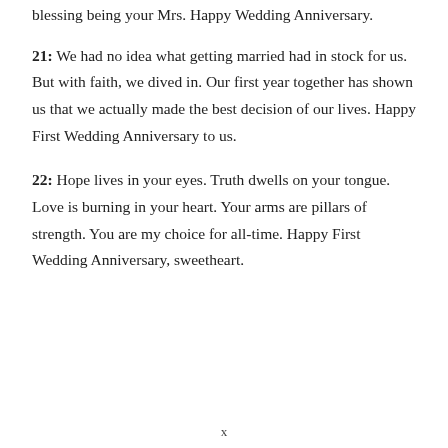blessing being your Mrs. Happy Wedding Anniversary.
21: We had no idea what getting married had in stock for us. But with faith, we dived in. Our first year together has shown us that we actually made the best decision of our lives. Happy First Wedding Anniversary to us.
22: Hope lives in your eyes. Truth dwells on your tongue. Love is burning in your heart. Your arms are pillars of strength. You are my choice for all-time. Happy First Wedding Anniversary, sweetheart.
x